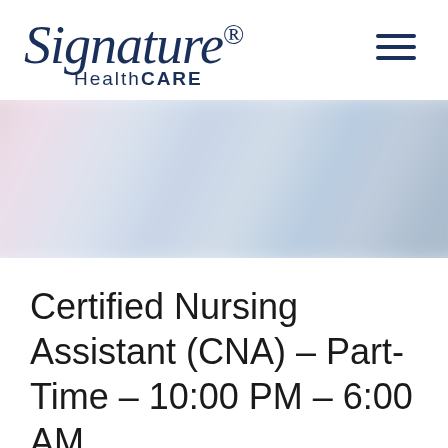[Figure (logo): Signature HealthCARE logo in dark navy blue, italic script style for 'Signature' with registered trademark, and 'HealthCARE' in sans-serif below]
[Figure (photo): Blurred abstract hero image with soft pastel tones — light pink, white, and blue — suggesting a healthcare environment]
Certified Nursing Assistant (CNA) – Part-Time – 10:00 PM – 6:00 AM